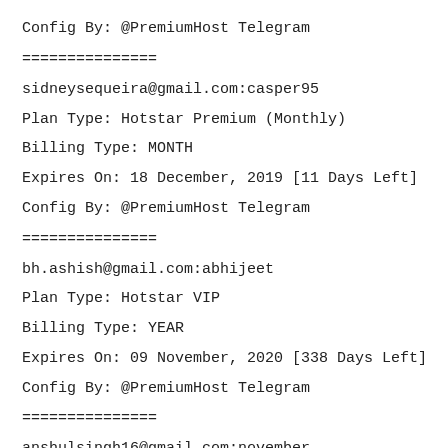Config By: @PremiumHost Telegram
===============
sidneysequeira@gmail.com:casper95
Plan Type: Hotstar Premium (Monthly)
Billing Type: MONTH
Expires On: 18 December, 2019 [11 Days Left]
Config By: @PremiumHost Telegram
===============
bh.ashish@gmail.com:abhijeet
Plan Type: Hotstar VIP
Billing Type: YEAR
Expires On: 09 November, 2020 [338 Days Left]
Config By: @PremiumHost Telegram
===============
anshulsingh16@gmail.com:november
Plan Type: Hotstar Premium (Annual)
Billing Type: YEAR